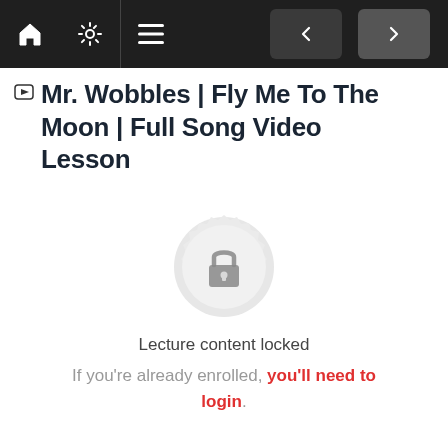[Figure (screenshot): Dark navigation bar with home icon, settings/gear icon, hamburger menu icon on the left; two arrow navigation buttons (previous and next) on the right.]
Mr. Wobbles | Fly Me To The Moon | Full Song Video Lesson
[Figure (illustration): A circular badge/seal shape in light grey with a padlock icon in the center, indicating locked content.]
Lecture content locked
If you're already enrolled, you'll need to login.